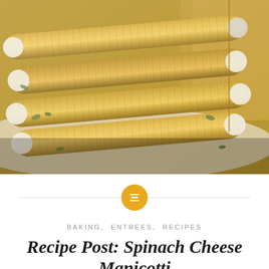[Figure (photo): Close-up photo of spinach cheese manicotti pasta tubes filled with white cheese and spinach filling, arranged in a baking dish, with a wooden surface visible in the upper right corner.]
BAKING, ENTREES, RECIPES
Recipe Post: Spinach Cheese Manicotti
Posted by ALICIA YORK-BIRD on SEPTEMBER 22, 2015